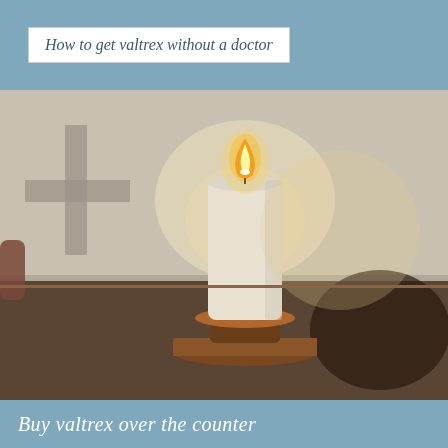How to get valtrex without a doctor
[Figure (photo): A white pillar candle on a wooden candlestick holder, lit with a visible flame, placed in front of a white wall with a shadow of a cross cast on the wall. Dark ambient lighting with warm glow from the flame.]
Buy valtrex over the counter